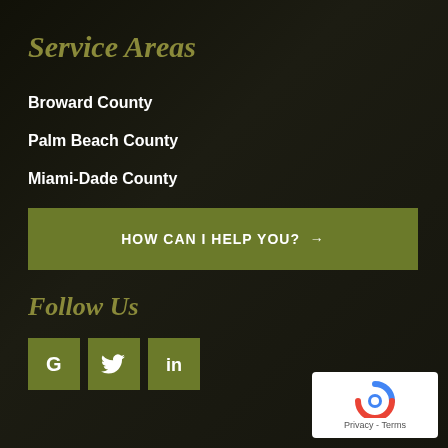Service Areas
Broward County
Palm Beach County
Miami-Dade County
HOW CAN I HELP YOU? →
Follow Us
[Figure (other): Social media icons: Google (G), Twitter (bird), LinkedIn (in) — each in an olive/green square button]
[Figure (other): reCAPTCHA badge with Google logo and Privacy - Terms text]